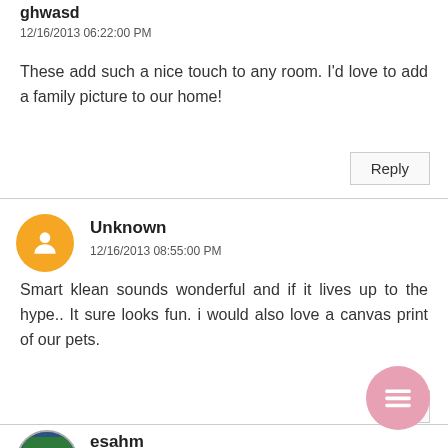ghwasd
12/16/2013 06:22:00 PM
These add such a nice touch to any room. I'd love to add a family picture to our home!
Reply
Unknown
12/16/2013 08:55:00 PM
Smart klean sounds wonderful and if it lives up to the hype.. It sure looks fun. i would also love a canvas print of our pets.
Reply
esahm
12/16/2013 08:57:00 PM